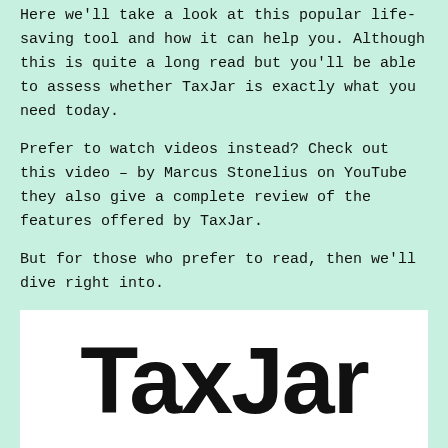Here we'll take a look at this popular life-saving tool and how it can help you. Although this is quite a long read but you'll be able to assess whether TaxJar is exactly what you need today.
Prefer to watch videos instead? Check out this video – by Marcus Stonelius on YouTube they also give a complete review of the features offered by TaxJar.
But for those who prefer to read, then we'll dive right into.
[Figure (logo): TaxJar logo in large bold black text on white background]
[Figure (screenshot): YouTube video thumbnail showing 'Is TaxJar Worth It? | An UNBIASE...' with a smiling man's avatar on dark background]